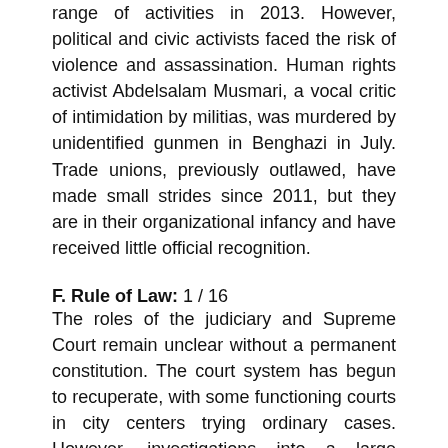range of activities in 2013. However, political and civic activists faced the risk of violence and assassination. Human rights activist Abdelsalam Musmari, a vocal critic of intimidation by militias, was murdered by unidentified gunmen in Benghazi in July. Trade unions, previously outlawed, have made small strides since 2011, but they are in their organizational infancy and have received little official recognition.
F. Rule of Law: 1 / 16
The roles of the judiciary and Supreme Court remain unclear without a permanent constitution. The court system has begun to recuperate, with some functioning courts in city centers trying ordinary cases. However, investigations into a large number of cases involving torture and extrajudicial executions before and during the civil conflict, including the killing of Mu'ammar al-Qadhafi, have made little progress, and